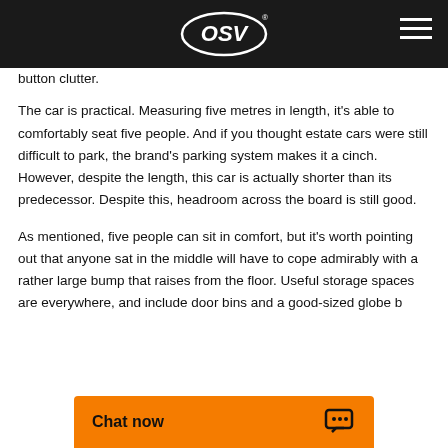OSV
button clutter.
The car is practical. Measuring five metres in length, it's able to comfortably seat five people. And if you thought estate cars were still difficult to park, the brand's parking system makes it a cinch. However, despite the length, this car is actually shorter than its predecessor. Despite this, headroom across the board is still good.
As mentioned, five people can sit in comfort, but it's worth pointing out that anyone sat in the middle will have to cope admirably with a rather large bump that raises from the floor. Useful storage spaces are everywhere, and include door bins and a good-sized globe b…